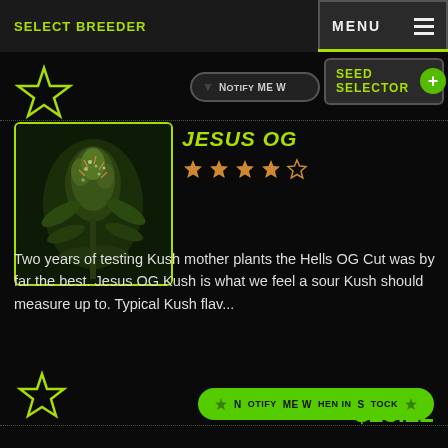SELECT BREEDER
MENU
[Figure (other): Star icon outline in green, top left navigation area]
Notify me w...
SEED SELECTOR
[Figure (photo): Close-up photo of a cannabis plant with dense buds covered in trichomes]
JESUS OG
★★★★☆ (4 stars out of 5)
Two years of testing Kush mother plants the Hells OG Cut was by far the best. Jesus OG Kush is what we feel a sour Kush should measure up to. Typical Kush flav...
$23.22
[Figure (other): Star icon outline in green, bottom left navigation area]
NOTIFY ME WHEN IN STOCK